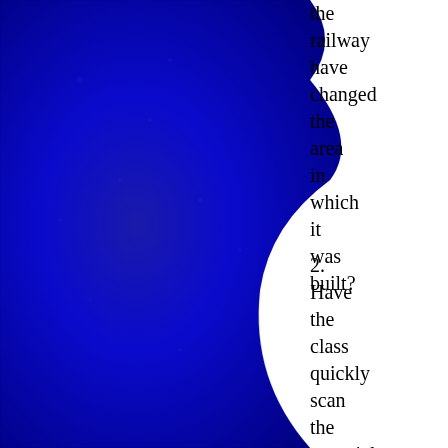[Figure (photo): Blue textured fabric or material forming a curved shape on the left side of the page, with white background visible on the right.]
the railway have changed the area in which it was built?
2. Have the class quickly scan the material or look at illustrations